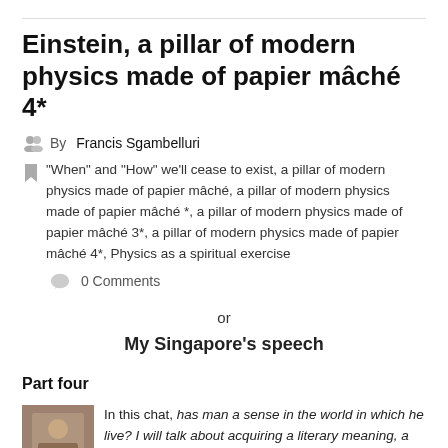Einstein, a pillar of modern physics made of papier mâché 4*
By Francis Sgambelluri
"When" and "How" we'll cease to exist, a pillar of modern physics made of papier mâché, a pillar of modern physics made of papier mâché *, a pillar of modern physics made of papier mâché 3*, a pillar of modern physics made of papier mâché 4*, Physics as a spiritual exercise
0 Comments
or
My Singapore's speech
Part four
In this chat, has man a sense in the world in which he live? I will talk about acquiring a literary meaning, a lit...